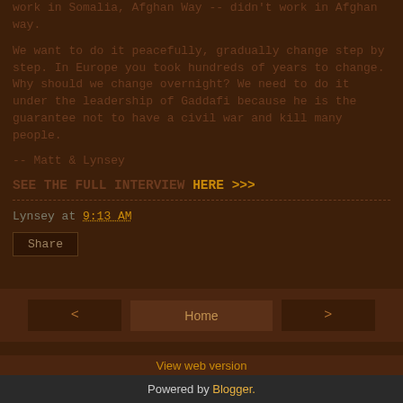work in Somalia, Afghan Way -- didn't work in Afghan way.
We want to do it peacefully, gradually change step by step. In Europe you took hundreds of years to change. Why should we change overnight? We need to do it under the leadership of Gaddafi because he is the guarantee not to have a civil war and kill many people.
-- Matt & Lynsey
SEE THE FULL INTERVIEW HERE >>>
Lynsey at 9:13 AM
Share
Home
View web version
Powered by Blogger.